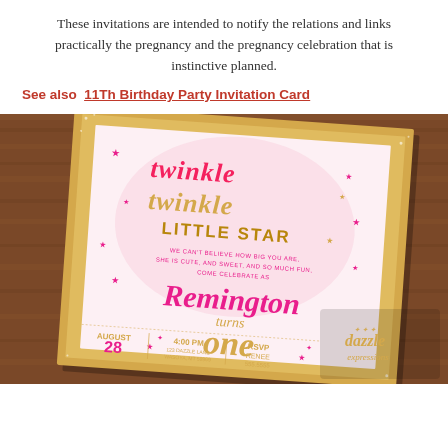These invitations are intended to notify the relations and links practically the pregnancy and the pregnancy celebration that is instinctive planned.
See also  11Th Birthday Party Invitation Card
[Figure (photo): A photo of a 'Twinkle Twinkle Little Star' birthday party invitation card for Remington turning ONE, with gold glitter border and pink/gold text, placed on a wooden background. Includes event details: August 28, 4:00 PM, 123 Dazzle Lane, Wasoya MT, RSVP Renee 555.5555. Dazzle Expressions logo visible.]